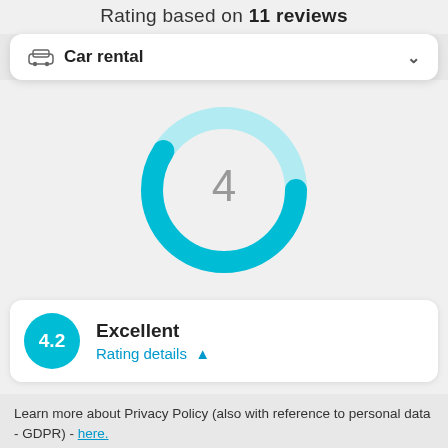Rating based on 11 reviews
Car rental
[Figure (donut-chart): Donut chart showing a score of 4 out of 5, approximately 84% filled in teal, remainder in light blue]
Excellent
4.2
Rating details ▲
Learn more about Privacy Policy (also with reference to personal data - GDPR) - here.
Accept